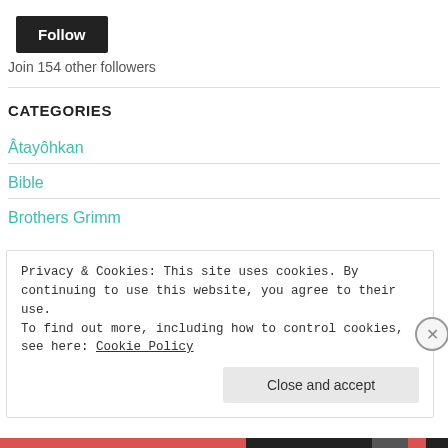[Figure (other): Follow button - black rounded button with white text]
Join 154 other followers
CATEGORIES
Âtayôhkan
Bible
Brothers Grimm
Privacy & Cookies: This site uses cookies. By continuing to use this website, you agree to their use.
To find out more, including how to control cookies, see here: Cookie Policy
Close and accept